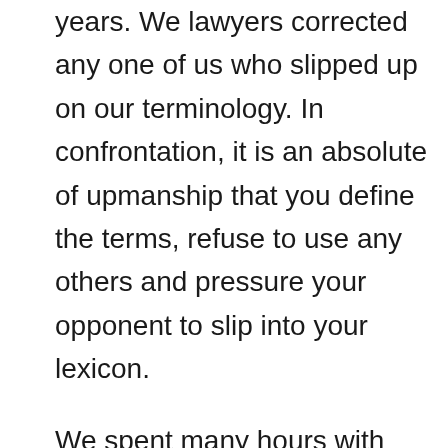years. We lawyers corrected any one of us who slipped up on our terminology. In confrontation, it is an absolute of upmanship that you define the terms, refuse to use any others and pressure your opponent to slip into your lexicon.
We spent many hours with our witnesses running them through mock cross-examination, drilling "master antenna," and you deliver "signals"--not "programs," into their psyches. A problem with CATV operators in those days is that they fancied themselves as being in show biz--and that included our good friend and